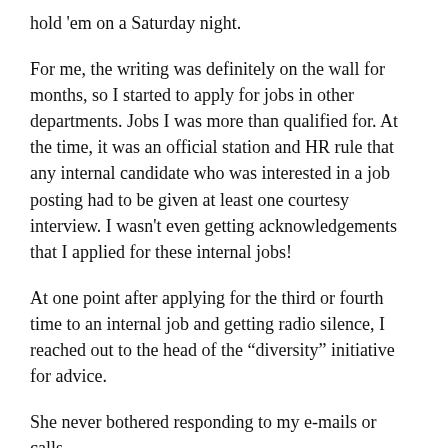hold 'em on a Saturday night.
For me, the writing was definitely on the wall for months, so I started to apply for jobs in other departments. Jobs I was more than qualified for. At the time, it was an official station and HR rule that any internal candidate who was interested in a job posting had to be given at least one courtesy interview. I wasn't even getting acknowledgements that I applied for these internal jobs!
At one point after applying for the third or fourth time to an internal job and getting radio silence, I reached out to the head of the “diversity” initiative for advice.
She never bothered responding to my e-mails or calls.
That’s when I was like, OK fuck y’all, time for a divorce. And started looking for jobs on the outside.